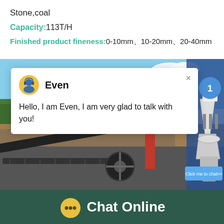Stone,coal
Capacity:113T/H
Finished product fineness:0-10mm、0-20mm、20-40mm
[Figure (screenshot): Industrial crushing/screening plant with conveyor belts and machinery, overlaid with a chat popup from agent 'Even' saying 'Hello, I am Even, I am very glad to talk with you!' and a blue 'Click me to chat>>' button with badge showing '1'. Bottom bar shows 'Chat Online' with speech bubble icon on dark green background.]